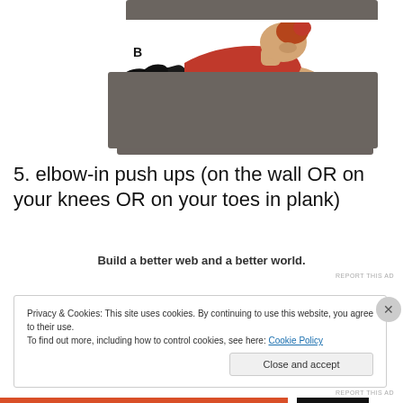[Figure (photo): Person wearing red top and black pants doing a push-up (plank position) on a gray exercise mat, with label B indicating this is position B of the exercise.]
5. elbow-in push ups (on the wall OR on your knees OR on your toes in plank)
Build a better web and a better world.
REPORT THIS AD
Privacy & Cookies: This site uses cookies. By continuing to use this website, you agree to their use.
To find out more, including how to control cookies, see here: Cookie Policy
Close and accept